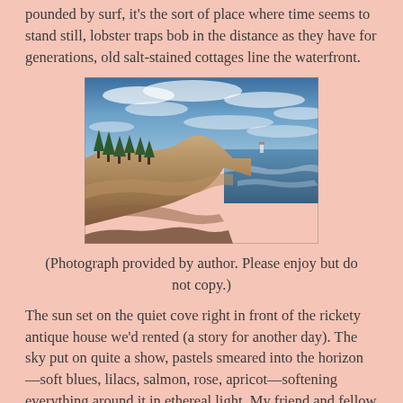pounded by surf, it's the sort of place where time seems to stand still, lobster traps bob in the distance as they have for generations, old salt-stained cottages line the waterfront.
[Figure (photo): Rocky coastal shoreline with evergreen trees on the left, large flat rocks leading down to the ocean, waves breaking on the rocks, dramatic blue sky with clouds above.]
(Photograph provided by author. Please enjoy but do not copy.)
The sun set on the quiet cove right in front of the rickety antique house we'd rented (a story for another day).  The sky put on quite a show, pastels smeared into the horizon—soft blues, lilacs, salmon, rose, apricot—softening everything around it in ethereal light. My friend and fellow writer, Kathy Pyle, mentioned she'd always thought of the wondrous time